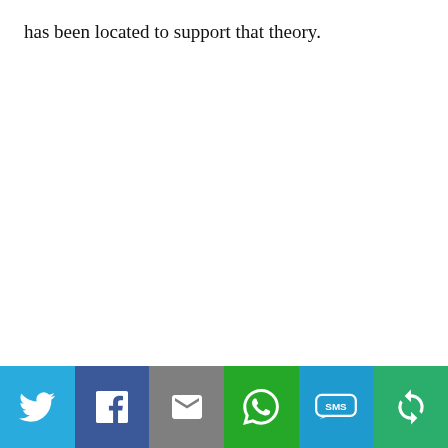has been located to support that theory.
[Figure (infographic): Social sharing bar with six buttons: Twitter (light blue), Facebook (dark blue), Email (grey), WhatsApp (green), SMS (blue), More/share (green)]